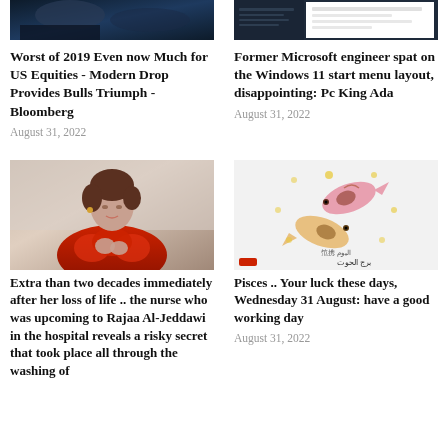[Figure (photo): Dark news background image, top left]
Worst of 2019 Even now Much for US Equities - Modern Drop Provides Bulls Triumph - Bloomberg
August 31, 2022
[Figure (screenshot): Computer screen screenshot, top right]
Former Microsoft engineer spat on the Windows 11 start menu layout, disappointing: Pc King Ada
August 31, 2022
[Figure (photo): Woman in red fur coat, Rajaa Al-Jeddawi]
Extra than two decades immediately after her loss of life .. the nurse who was upcoming to Rajaa Al-Jeddawi in the hospital reveals a risky secret that took place all through the washing of
[Figure (illustration): Pisces zodiac sign illustration with fish and Arabic text]
Pisces .. Your luck these days, Wednesday 31 August: have a good working day
August 31, 2022